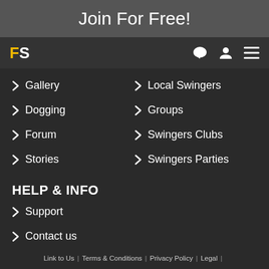Join For Free!
[Figure (logo): FS logo with F in yellow and S in white, with chat bubble, user, and menu icons on the right]
Gallery
Local Swingers
Dogging
Groups
Forum
Swingers Clubs
Stories
Swingers Parties
HELP & INFO
Support
Contact us
Link to Us  |  Terms & Conditions  |  Privacy Policy  |  Legal  |